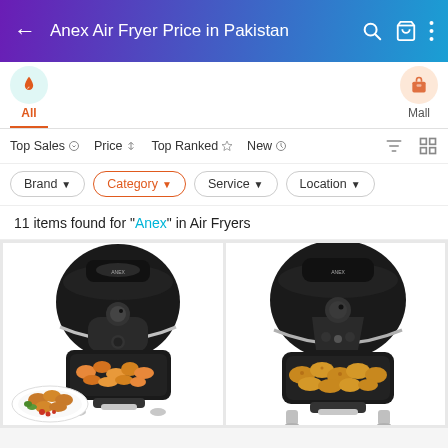Anex Air Fryer Price in Pakistan
All
Mall
Top Sales  Price  Top Ranked  New
Brand  Category  Service  Location
11 items found for "Anex" in Air Fryers
[Figure (photo): Anex air fryer with shrimp/fried food in basket, food displayed on plate beside it]
[Figure (photo): Anex air fryer with fried chicken pieces in basket]